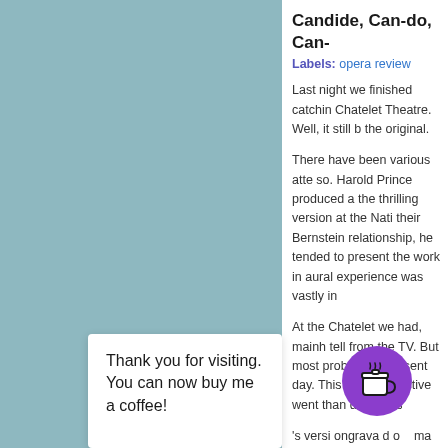[Figure (illustration): Teal/blue-green background panel occupying the left portion of the page]
Candide, Can-do, Can-
Labels: opera review
Last night we finished catching Chatelet Theatre. Well, it still h the original.
There have been various atte so. Harold Prince produced a the thrilling version at the Nati their Bernstein relationship, he tended to present the work in aural experience was vastly in
At the Chatelet we had, mainh tell from the TV. But most prob to the present day. This mean collective went than did Berns
's versi ongrava d o ma s wa the ier, wh tango, w
Thank you for visiting. You can now buy me a coffee!
[Figure (illustration): Purple circular coffee cup button/icon]